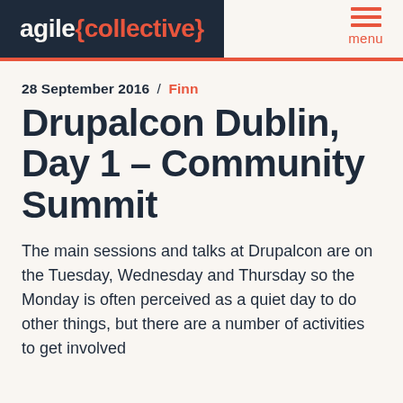agile{collective} menu
Drupalcon Dublin, Day 1 – Community Summit
28 September 2016 / Finn
The main sessions and talks at Drupalcon are on the Tuesday, Wednesday and Thursday so the Monday is often perceived as a quiet day to do other things, but there are a number of activities to get involved